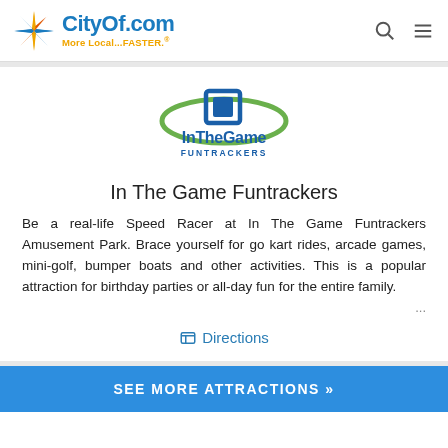CityOf.com More Local...FASTER.
[Figure (logo): InTheGame Funtrackers logo — blue square-like icon with green oval swoosh, text 'InTheGame FUNTRACKERS']
In The Game Funtrackers
Be a real-life Speed Racer at In The Game Funtrackers Amusement Park. Brace yourself for go kart rides, arcade games, mini-golf, bumper boats and other activities. This is a popular attraction for birthday parties or all-day fun for the entire family.
Directions
SEE MORE ATTRACTIONS »